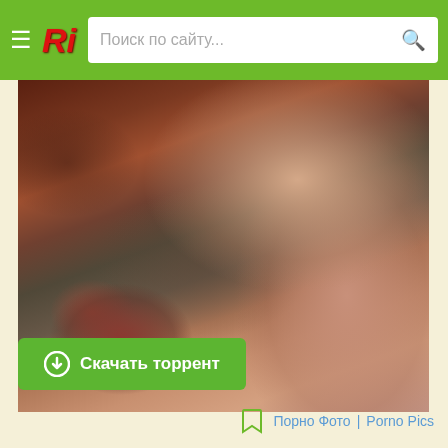Ri | Поиск по сайту...
[Figure (photo): Close-up blurry photograph, adult content screenshot from website]
Скачать торрент
Порно Фото | Porno Pics